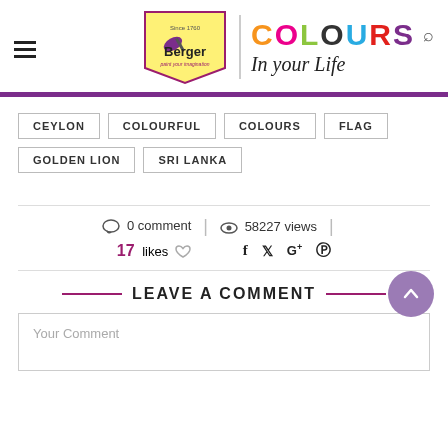[Figure (logo): Berger Paints logo with 'COLOURS In your Life' tagline and navigation elements]
CEYLON
COLOURFUL
COLOURS
FLAG
GOLDEN LION
SRI LANKA
0 comment | 58227 views | 17 likes
LEAVE A COMMENT
Your Comment